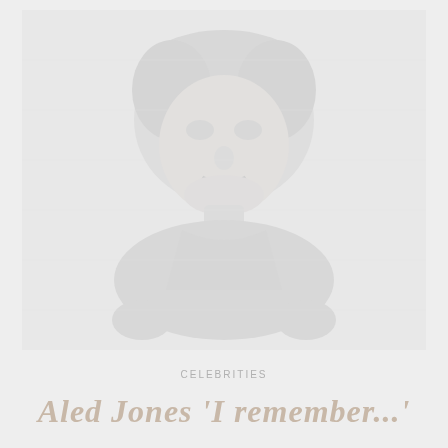[Figure (photo): Faded/watermark-style portrait photograph of Aled Jones, very light gray tones against a light gray background]
CELEBRITIES
Aled Jones 'I remember...'